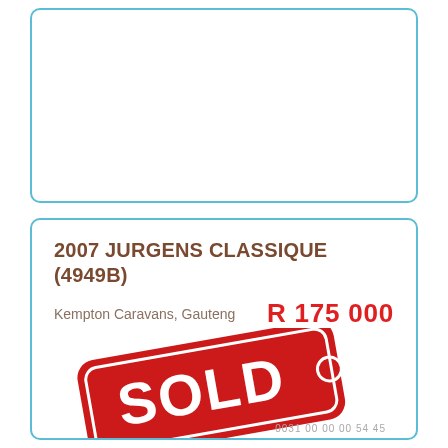[Figure (other): Empty listing card with blue rounded border, no image content visible]
2007 JURGENS CLASSIQUE (4949B)
Kempton Caravans, Gauteng
R 175 000
[Figure (other): Red SOLD tag/stamp overlaid on the bottom portion of the listing card]